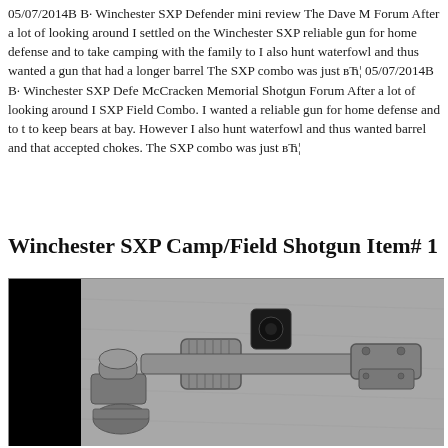05/07/2014B B· Winchester SXP Defender mini review The Dave M Forum After a lot of looking around I settled on the Winchester SXP reliable gun for home defense and to take camping with the family to I also hunt waterfowl and thus wanted a gun that had a longer barrel The SXP combo was just вЋ¦ 05/07/2014B B· Winchester SXP Defe McCracken Memorial Shotgun Forum After a lot of looking around I SXP Field Combo. I wanted a reliable gun for home defense and to t to keep bears at bay. However I also hunt waterfowl and thus wanted barrel and that accepted chokes. The SXP combo was just вЋ¦
Winchester SXP Camp/Field Shotgun Item# 1
[Figure (photo): Black and white close-up photograph of Winchester SXP shotgun parts/scope hardware on a grey fabric background. Left portion is black (dark area), right shows metallic gun components including what appears to be scope rings and barrel hardware.]